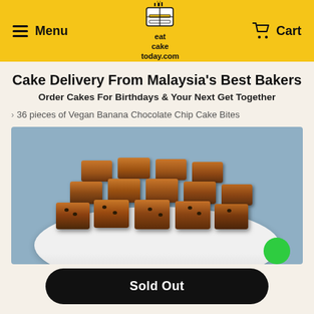Menu | eat cake today.com | Cart
Cake Delivery From Malaysia's Best Bakers
Order Cakes For Birthdays & Your Next Get Together
36 pieces of Vegan Banana Chocolate Chip Cake Bites
[Figure (photo): A white plate piled with square Vegan Banana Chocolate Chip Cake Bites against a blue-grey background. A green element is visible at the bottom right corner.]
Sold Out